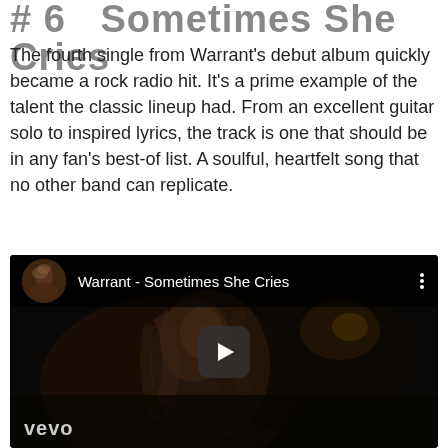# 6   Sometimes She Cries
The fourth single from Warrant's debut album quickly became a rock radio hit. It's a prime example of the talent the classic lineup had. From an excellent guitar solo to inspired lyrics, the track is one that should be in any fan's best-of list. A soulful, heartfelt song that no other band can replicate.
[Figure (screenshot): YouTube video embed showing 'Warrant - Sometimes She Cries' with a dark music video thumbnail featuring a blonde performer, a circular channel avatar thumbnail, play button overlay, and Vevo logo in the bottom left.]